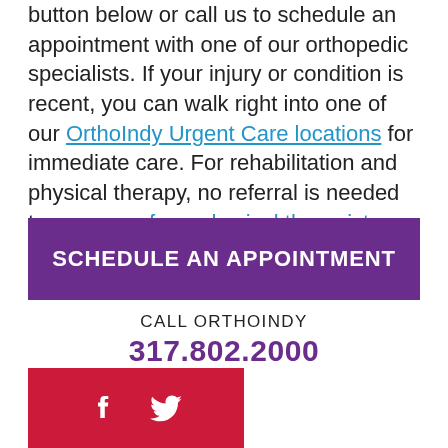button below or call us to schedule an appointment with one of our orthopedic specialists. If your injury or condition is recent, you can walk right into one of our OrthoIndy Urgent Care locations for immediate care. For rehabilitation and physical therapy, no referral is needed to see one of our physical therapists.
SCHEDULE AN APPOINTMENT
CALL ORTHOINDY
317.802.2000
[Figure (infographic): Red social media bar with Facebook and Twitter icons]